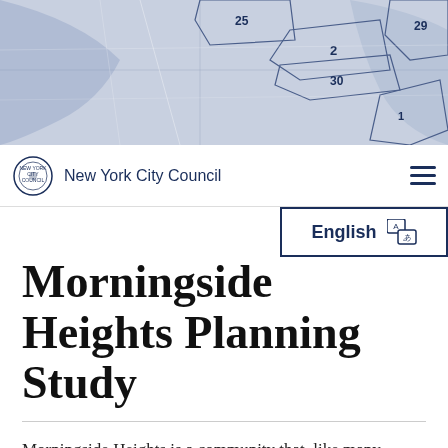[Figure (map): NYC district map showing numbered council districts in blue/light blue tones, with district numbers visible including 1, 2, 29, 30, 25]
New York City Council
English
Morningside Heights Planning Study
Morningside Heights is a community that, like many, wants a seat at the table to plan its own future.
This diverse uptown community – home to longtime co-ops and rent-regulated walk-up residents, NYCHA